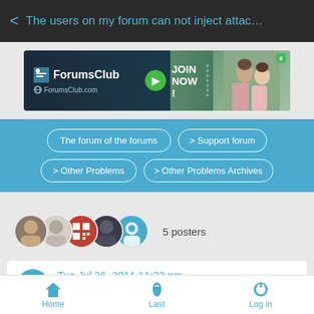< The users on my forum can not inject attac…
[Figure (screenshot): ForumsClub banner advertisement with JOIN NOW button and photo of two people]
The forum of the forums
> Support forum
> Other Problems
> Other Problems Archives
5 posters
Tue Jul 26, 2011 11:32 pm
by forume
We ask for your help. The users on my forum can not inject
Home   Last   Log in